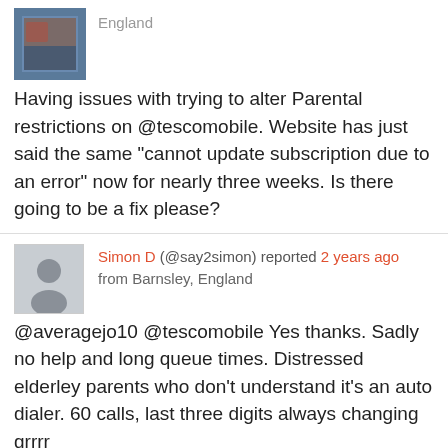England
Having issues with trying to alter Parental restrictions on @tescomobile. Website has just said the same "cannot update subscription due to an error" now for nearly three weeks. Is there going to be a fix please?
Simon D (@say2simon) reported 2 years ago from Barnsley, England
@averagejo10 @tescomobile Yes thanks. Sadly no help and long queue times. Distressed elderley parents who don't understand it's an auto dialer. 60 calls, last three digits always changing grrrr
em (@emmavictoria_19) reported 2 years ago from Sheffield, England
@tescomobile why is my noble service high and I can't call out